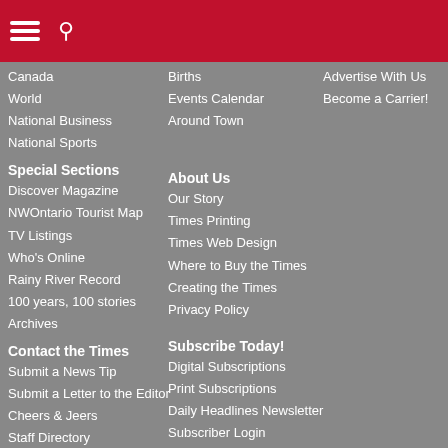[hamburger menu] [search icon]
Canada
World
National Business
National Sports
Births
Events Calendar
Around Town
Advertise With Us
Become a Carrier!
Special Sections
Discover Magazine
NWOntario Tourist Map
TV Listings
Who's Online
Rainy River Record
100 years, 100 stories
Archives
About Us
Our Story
Times Printing
Times Web Design
Where to Buy the Times
Creating the Times
Privacy Policy
Contact the Times
Submit a News Tip
Submit a Letter to the Editor
Cheers & Jeers
Staff Directory
Where to Find Us
Post an Event
Jobs @ The Times
Subscribe Today!
Digital Subscriptions
Print Subscriptions
Daily Headlines Newsletter
Subscriber Login
My Profile